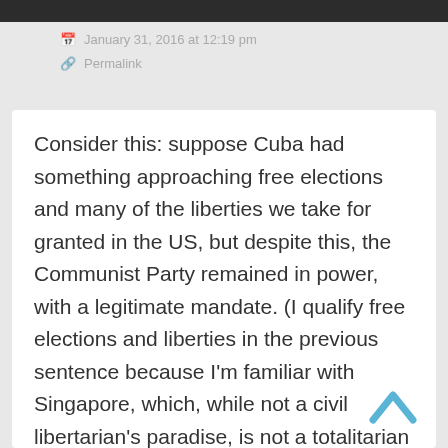January 31, 2016 at 12:19 pm
Permalink
Consider this: suppose Cuba had something approaching free elections and many of the liberties we take for granted in the US, but despite this, the Communist Party remained in power, with a legitimate mandate. (I qualify free elections and liberties in the previous sentence because I'm familiar with Singapore, which, while not a civil libertarian's paradise, is not a totalitarian hell-hole either. The ruling party has ruled for about as long as the Cuban Communist Party has, but has an opposition, to which it occasionally loses in